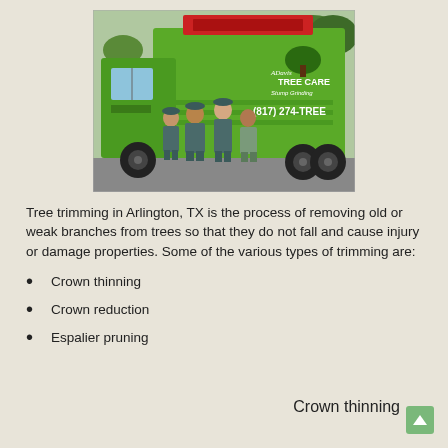[Figure (photo): Photo of four workers in dark green uniforms standing in front of a large bright green tree care truck. The truck displays 'TREE CARE' branding and the phone number (817) 274-TREE.]
Tree trimming in Arlington, TX is the process of removing old or weak branches from trees so that they do not fall and cause injury or damage properties. Some of the various types of trimming are:
Crown thinning
Crown reduction
Espalier pruning
Crown thinning